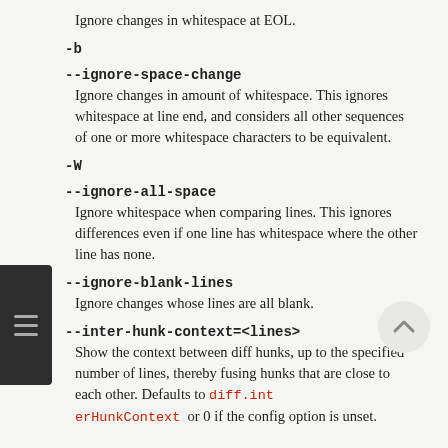Ignore changes in whitespace at EOL.
-b
--ignore-space-change
Ignore changes in amount of whitespace. This ignores whitespace at line end, and considers all other sequences of one or more whitespace characters to be equivalent.
-W
--ignore-all-space
Ignore whitespace when comparing lines. This ignores differences even if one line has whitespace where the other line has none.
--ignore-blank-lines
Ignore changes whose lines are all blank.
--inter-hunk-context=<lines>
Show the context between diff hunks, up to the specified number of lines, thereby fusing hunks that are close to each other. Defaults to diff.interHunkContext or 0 if the config option is unset.